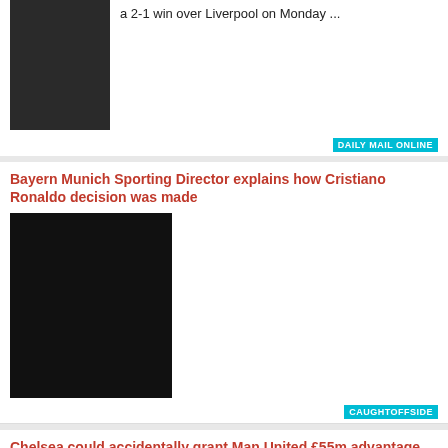a 2-1 win over Liverpool on Monday ...
DAILY MAIL ONLINE
Bayern Munich Sporting Director explains how Cristiano Ronaldo decision was made
CAUGHTOFFSIDE
Chelsea could accidentally grant Man United £55m advantage by solving Cristiano Ronaldo dispute
Cristiano Ronaldo and Harry Maguire have been linked with moves to Chelsea this summer, ...
FOOTBALL LONDON
What Ronaldo said to autistic child's mum on call as he described 'terrible upbringing'
Manchester United's Cristiano Ronaldo has